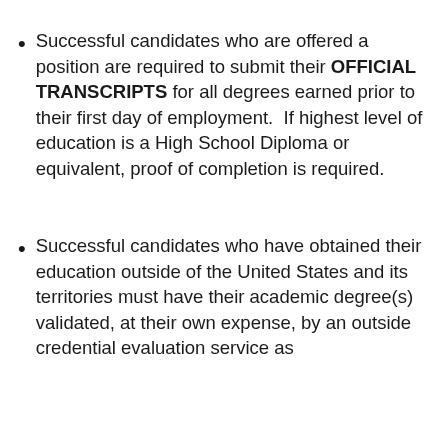Successful candidates who are offered a position are required to submit their OFFICIAL TRANSCRIPTS for all degrees earned prior to their first day of employment.  If highest level of education is a High School Diploma or equivalent, proof of completion is required.
Successful candidates who have obtained their education outside of the United States and its territories must have their academic degree(s) validated, at their own expense, by an outside credential evaluation service as